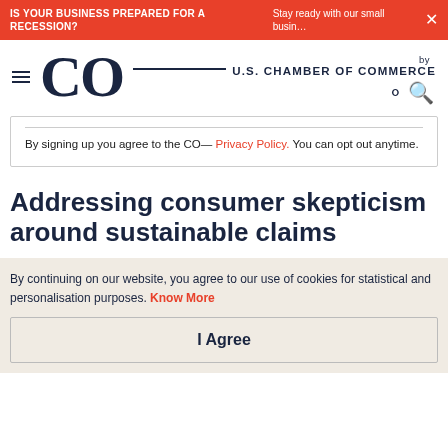IS YOUR BUSINESS PREPARED FOR A RECESSION? Stay ready with our small busin… ×
[Figure (logo): CO by U.S. Chamber of Commerce logo with hamburger menu and search icon]
By signing up you agree to the CO— Privacy Policy. You can opt out anytime.
Addressing consumer skepticism around sustainable claims
By continuing on our website, you agree to our use of cookies for statistical and personalisation purposes. Know More
I Agree